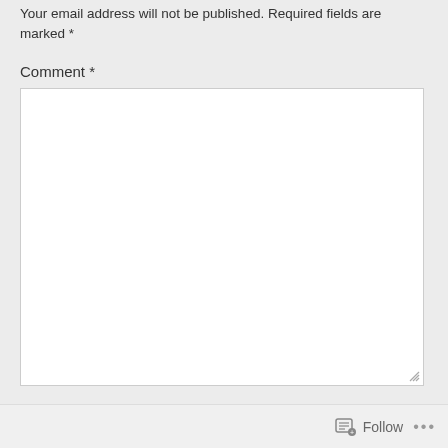Your email address will not be published. Required fields are marked *
Comment *
[Figure (screenshot): Empty comment text area input box with resize handle in bottom-right corner]
Follow ...